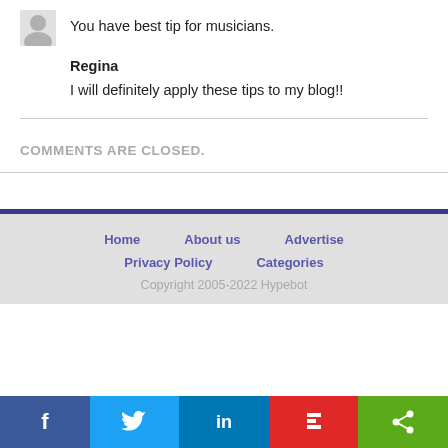You have best tip for musicians.
Regina
I will definitely apply these tips to my blog!!
COMMENTS ARE CLOSED.
Home  About us  Advertise  Privacy Policy  Categories  Copyright 2005-2022 Hypebot